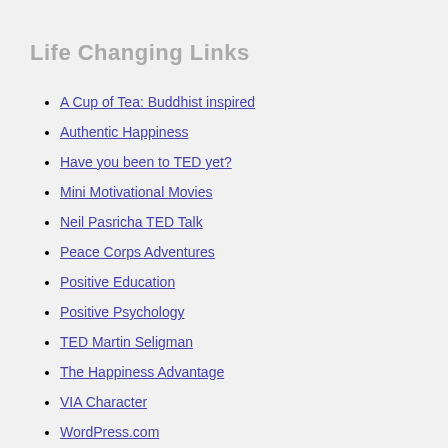Life Changing Links
A Cup of Tea: Buddhist inspired
Authentic Happiness
Have you been to TED yet?
Mini Motivational Movies
Neil Pasricha TED Talk
Peace Corps Adventures
Positive Education
Positive Psychology
TED Martin Seligman
The Happiness Advantage
VIA Character
WordPress.com